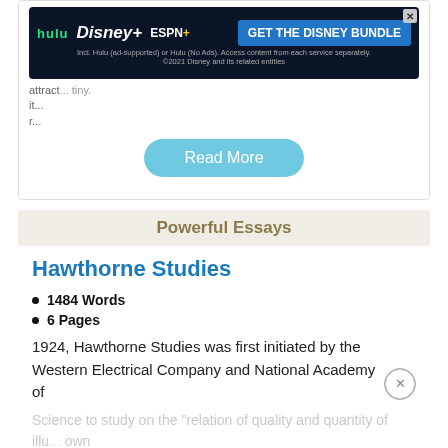[Figure (screenshot): Disney Bundle advertisement banner with Hulu, Disney+, ESPN+ logos and GET THE DISNEY BUNDLE call-to-action button]
attract... tiny. it... r...
Read More
Powerful Essays
Hawthorne Studies
1484 Words
6 Pages
1924, Hawthorne Studies was first initiated by the Western Electrical Company and National Academy of
Science to study on the "relation of quality and quantity of illu... own as illu... 003, pg 14). From 1927-1933, a series of experiments were
[Figure (screenshot): Disney Bundle advertisement banner with Hulu, Disney+, ESPN+ logos and GET THE DISNEY BUNDLE call-to-action button (bottom)]